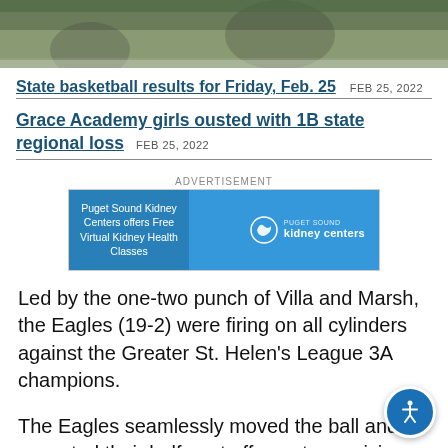[Figure (photo): Sports photo showing basketball players on court, cropped to show top portion]
State basketball results for Friday, Feb. 25  FEB 25, 2022
Grace Academy girls ousted with 1B state regional loss  FEB 25, 2022
[Figure (infographic): Advertisement banner for Puget Sound Kidney Centers offering Free Virtual Kidney Health Classes]
Led by the one-two punch of Villa and Marsh, the Eagles (19-2) were firing on all cylinders against the Greater St. Helen's League 3A champions.
The Eagles seamlessly moved the ball and executed their halfcourt offense to precision. They used their high-pressure defense to ignite their lethal transition attack. And for a large chunk of the night,